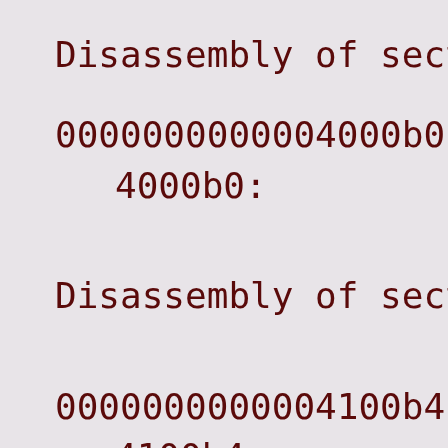Disassembly of section
0000000000004000b0 <_sta
4000b0:        d65f03
Disassembly of section
0000000000004100b4 <some
4100b4:        000000
4100b8:        000000